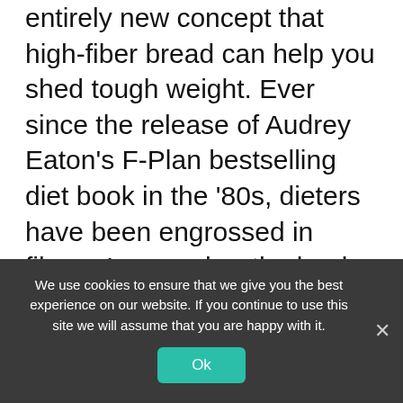entirely new concept that high-fiber bread can help you shed tough weight. Ever since the release of Audrey Eaton's F-Plan bestselling diet book in the '80s, dieters have been engrossed in fibres. I remember the book was like a bible for my mom and her friends who used to fear low-fiber foods the way we now fear carbohydrates. Eaton advised readers to consume massive amounts of fiber for rapid and sustained weight loss. This approach achieved 5:2 dominance among aspiring dieters, and although the fiber trend was falling off the
We use cookies to ensure that we give you the best experience on our website. If you continue to use this site we will assume that you are happy with it.